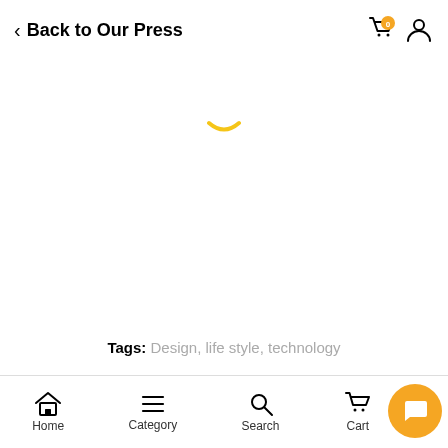Back to Our Press
[Figure (other): Loading spinner - partial yellow arc indicating page content is loading]
Tags: Design, life style, technology
Home  Category  Search  Cart